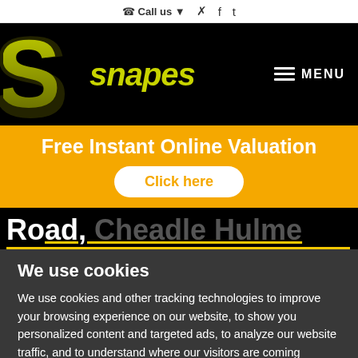Call us · [email icon] [facebook icon] [twitter icon]
[Figure (logo): Snapes estate agent logo: large stylized S in yellow-green on black background, with 'snapes' text in yellow italic bold font]
≡ MENU
Free Instant Online Valuation
Click here
Road, Cheadle Hulme
We use cookies
We use cookies and other tracking technologies to improve your browsing experience on our website, to show you personalized content and targeted ads, to analyze our website traffic, and to understand where our visitors are coming